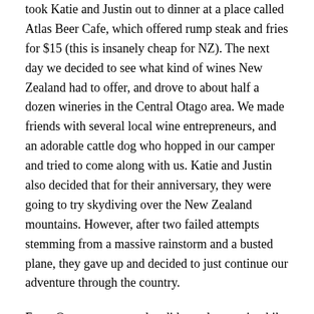took Katie and Justin out to dinner at a place called Atlas Beer Cafe, which offered rump steak and fries for $15 (this is insanely cheap for NZ).  The next day we decided to see what kind of wines New Zealand had to offer, and drove to about half a dozen wineries in the Central Otago area.  We made friends with several local wine entrepreneurs, and an adorable cattle dog who hopped in our camper and tried to come along with us.  Katie and Justin also decided that for their anniversary, they were going to try skydiving over the New Zealand mountains.  However, after two failed attempts stemming from a massive rainstorm and a busted plane, they gave up and decided to just continue our adventure through the country.
From Queenstown we also did a early morning hike up to Roy's Peak.  We got up and began hiking around 3:30 a.m. in order to make it to the top for sunrise.  The hike itself was somewhat miserable (in Katie and my opinion) in that it was pitch black, freezing cold, and straight uphill.  However, the payoff from the top made it all worth it.  The peak offered absolutely incredible views of Lake Wanaka, Queenstown, and the peak of Mount Aspiring.  We got some truly awesome photos u there.  We slowly made our way down, took